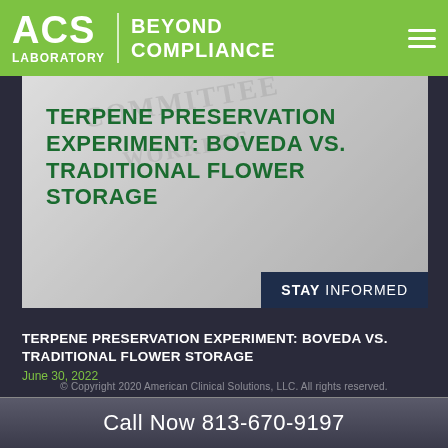ACS LABORATORY | BEYOND COMPLIANCE
[Figure (illustration): Hero banner image with newspaper/crowd background texture and green bold text reading TERPENE PRESERVATION EXPERIMENT: BOVEDA VS. TRADITIONAL FLOWER STORAGE, with a dark navy 'STAY INFORMED' badge in the bottom right corner]
TERPENE PRESERVATION EXPERIMENT: BOVEDA VS. TRADITIONAL FLOWER STORAGE
June 30, 2022
© Copyright 2020 American Clinical Solutions, LLC. All rights reserved.
Call Now 813-670-9197